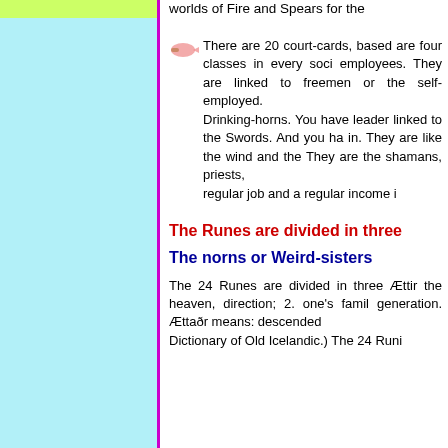worlds of Fire and Spears for the
There are 20 court-cards, based are four classes in every soci employees. They are linked to freemen or the self-employed. Drinking-horns. You have leader linked to the Swords. And you ha in. They are like the wind and the They are the shamans, priests, regular job and a regular income i
The Runes are divided in three
The norns or Weird-sisters
The 24 Runes are divided in three Ættin the heaven, direction; 2. one's fami generation. Ættaðr means: descended Dictionary of Old Icelandic.) The 24 Runi the norns or Weird-sisters. Each